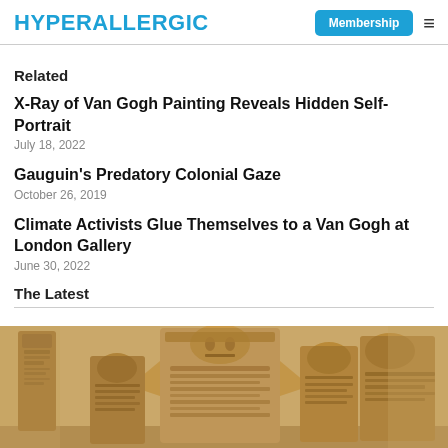HYPERALLERGIC | Membership ≡
Related
X-Ray of Van Gogh Painting Reveals Hidden Self-Portrait
July 18, 2022
Gauguin's Predatory Colonial Gaze
October 26, 2019
Climate Activists Glue Themselves to a Van Gogh at London Gallery
June 30, 2022
The Latest
[Figure (photo): Sepia-toned photograph of ancient carved sculptures or figurines displayed in a museum setting, showing detailed ornate carvings on multiple standing figures.]